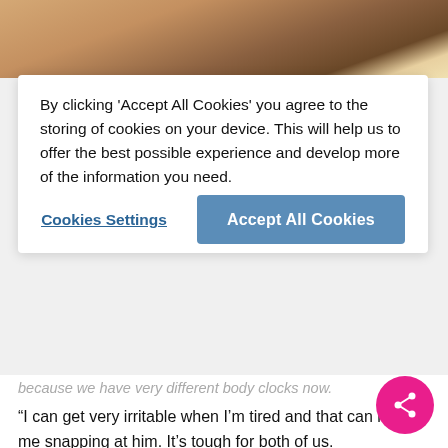[Figure (photo): Partial photo of a woman's face/shoulder, cropped at top of page]
By clicking ‘Accept All Cookies’ you agree to the storing of cookies on your device. This will help us to offer the best possible experience and develop more of the information you need.
Cookies Settings
Accept All Cookies
because we have very different body clocks now.
“I can get very irritable when I’m tired and that can lead to me snapping at him. It’s tough for both of us.
“He often wants to tell me about his day or something important and I can’t take it in. When my fatigue is kicking in I quickly feel overloaded. I have to ask him to save it and tell me in the